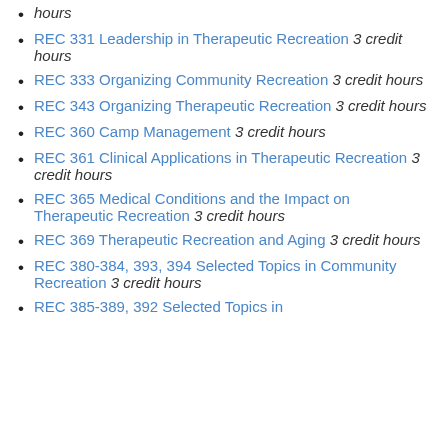hours
REC 331 Leadership in Therapeutic Recreation 3 credit hours
REC 333 Organizing Community Recreation 3 credit hours
REC 343 Organizing Therapeutic Recreation 3 credit hours
REC 360 Camp Management 3 credit hours
REC 361 Clinical Applications in Therapeutic Recreation 3 credit hours
REC 365 Medical Conditions and the Impact on Therapeutic Recreation 3 credit hours
REC 369 Therapeutic Recreation and Aging 3 credit hours
REC 380-384, 393, 394 Selected Topics in Community Recreation 3 credit hours
REC 385-389, 392 Selected Topics in